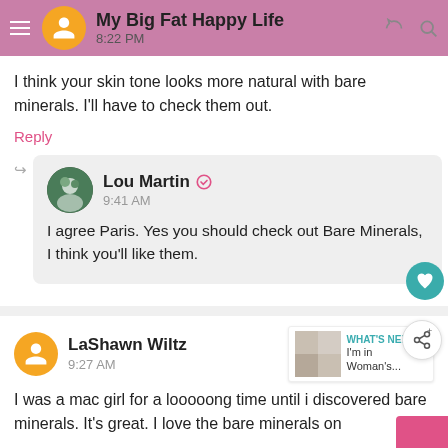My Big Fat Happy Life · 8:22 PM
I think your skin tone looks more natural with bare minerals. I'll have to check them out.
Reply
Lou Martin · 9:41 AM
I agree Paris. Yes you should check out Bare Minerals, I think you'll like them.
LaShawn Wiltz · 9:27 AM
I was a mac girl for a looooong time until i discovered bare minerals. It's great. I love the bare minerals on